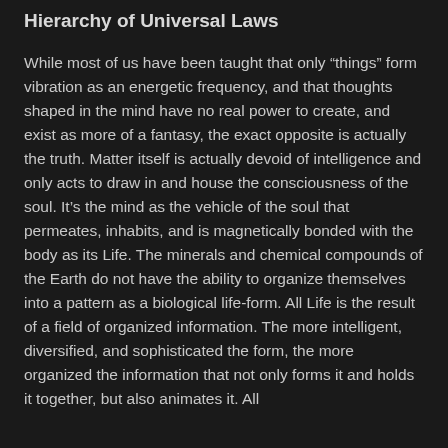Hierarchy of Universal Laws
While most of us have been taught that only “things” form vibration as an energetic frequency, and that thoughts shaped in the mind have no real power to create, and exist as more of a fantasy, the exact opposite is actually the truth. Matter itself is actually devoid of intelligence and only acts to draw in and house the consciousness of the soul. It’s the mind as the vehicle of the soul that permeates, inhabits, and is magnetically bonded with the body as its Life. The minerals and chemical compounds of the Earth do not have the ability to organize themselves into a pattern as a biological life-form. All Life is the result of a field of organized information. The more intelligent, diversified, and sophisticated the form, the more organized the information that not only forms it and holds it together, but also animates it. All